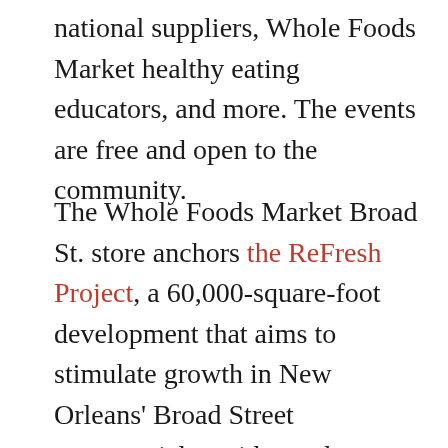national suppliers, Whole Foods Market healthy eating educators, and more. The events are free and open to the community.
The Whole Foods Market Broad St. store anchors the ReFresh Project, a 60,000-square-foot development that aims to stimulate growth in New Orleans' Broad Street commercial corridor and to improve access to fresh, high-quality food and health-related programs in the community. More details, tenant profiles, and video are available in the online press kit at